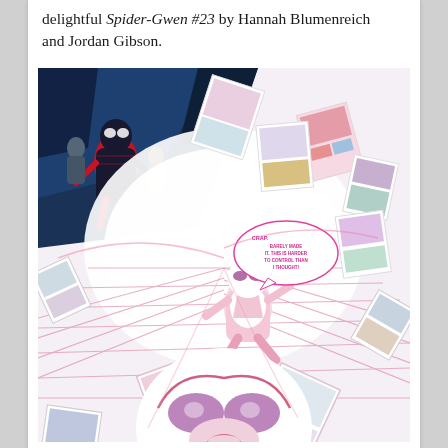delightful Spider-Gwen #23 by Hannah Blumenreich and Jordan Gibson.
[Figure (illustration): Comic book interior art from Spider-Gwen #23. Shows a pink-and-white costumed superhero character (Spider-Gwen/Ghost-Spider) surrounded by floating comic book pages in a swirling multiverse vortex. In the upper left, Miles Morales as Spider-Man stands with other figures. A speech bubble reads: 'CRAP. BARELY MADE IT. THIS IS HARDER TO CONTROL THAN I THOUGHT!']